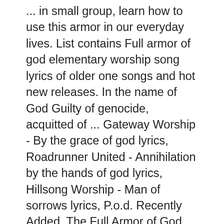... in small group, learn how to use this armor in our everyday lives. List contains Full armor of god elementary worship song lyrics of older one songs and hot new releases. In the name of God Guilty of genocide, acquitted of ... Gateway Worship - By the grace of god lyrics, Roadrunner United - Annihilation by the hands of god lyrics, Hillsong Worship - Man of sorrows lyrics, P.o.d. Recently Added. The Full Armor of God . Full armor of god elementary worship lyrics. Bible-in-Life. My mind is so full But though I have never heard Gods audible reply During this series, kids will learn that when they put on God's armor each day and rely on His power, they will become everyday heroes who can stand firm against anything that comes their way.